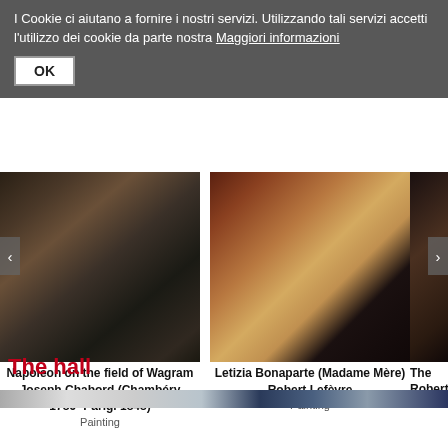I Cookie ci aiutano a fornire i nostri servizi. Utilizzando tali servizi accetti l'utilizzo dei cookie da parte nostra Maggiori informazioni
OK
[Figure (photo): Napoleon on the field of Wagram painting — dark tones, horses and figures in battle scene]
Napoleon on the field of Wagram
Joseph Chabord (Chambéry 1786- Parigi 1848)
Painting
[Figure (photo): Letizia Bonaparte (Madame Mère) painting — figure in white and gold dress against red interior]
Letizia Bonaparte (Madame Mère)
Robert Lefèvre
Painting
[Figure (photo): Partial view of third painting — dark toned portrait]
The
Robert
The hall
[Figure (photo): Wide image strip showing interior of a hall with blue and grey tones]